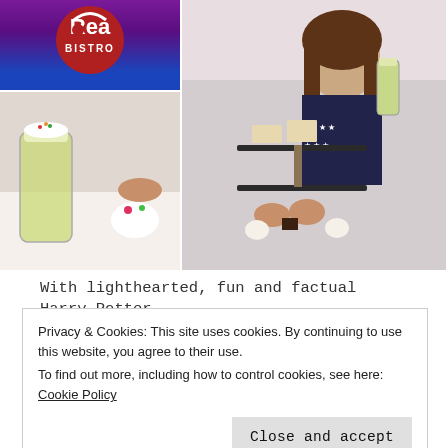[Figure (photo): RedBus Bistro logo on purple/blue background]
[Figure (photo): Young woman holding a drink at a table with an afternoon tea stand containing sandwiches, scones, pastries and cakes]
[Figure (photo): Close-up of afternoon tea table with a tall glass drink, meringues and pastries]
With lighthearted, fun and factual Harry Potter
Privacy & Cookies: This site uses cookies. By continuing to use this website, you agree to their use.
To find out more, including how to control cookies, see here: Cookie Policy
Close and accept
Continue reading →